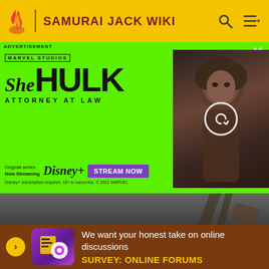SAMURAI JACK WIKI
[Figure (screenshot): She-Hulk Attorney at Law advertisement banner on green background with Disney+ Stream Now button and actress photo]
ADVERTISEMENT
Samurai Jack (character)
Samurai Jack Wiki
We want your honest take on online discussions
SURVEY: ONLINE FORUMS